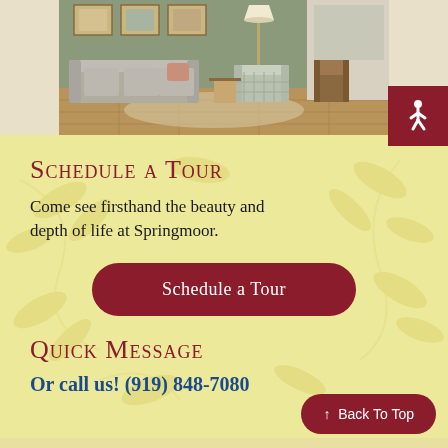[Figure (photo): Interior photo of a living room with grey sofas, patterned armchair, framed artwork on walls, floor lamp, and hardwood flooring in a senior living community setting.]
Schedule a Tour
Come see firsthand the beauty and depth of life at Springmoor.
Schedule a Tour
Quick Message
Or call us! (919) 848-7080
↑ Back To Top